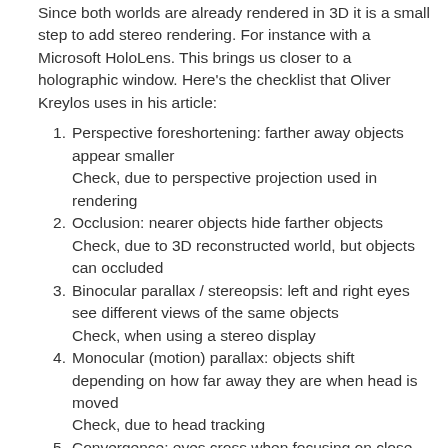Since both worlds are already rendered in 3D it is a small step to add stereo rendering. For instance with a Microsoft HoloLens. This brings us closer to a holographic window. Here's the checklist that Oliver Kreylos uses in his article:
Perspective foreshortening: farther away objects appear smaller
Check, due to perspective projection used in rendering
Occlusion: nearer objects hide farther objects
Check, due to 3D reconstructed world, but objects can occluded
Binocular parallax / stereopsis: left and right eyes see different views of the same objects
Check, when using a stereo display
Monocular (motion) parallax: objects shift depending on how far away they are when head is moved
Check, due to head tracking
Convergence: eyes cross when focusing on close objects
Check, when using a stereo display
Accommodation: eyes' lenses change focus depending on objects' distances